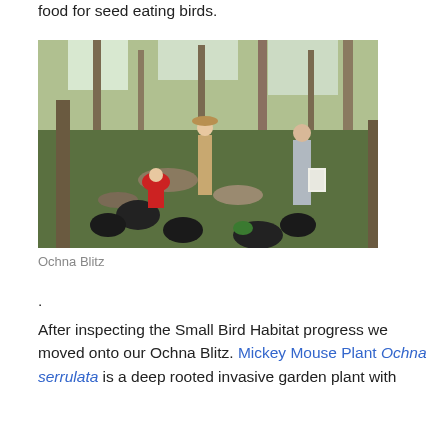food for seed eating birds.
[Figure (photo): People working in a bushland area removing invasive plants (Ochna Blitz), with black plastic bags of removed plants on the ground among trees and green vegetation.]
Ochna Blitz
.
After inspecting the Small Bird Habitat progress we moved onto our Ochna Blitz. Mickey Mouse Plant Ochna serrulata is a deep rooted invasive garden plant with